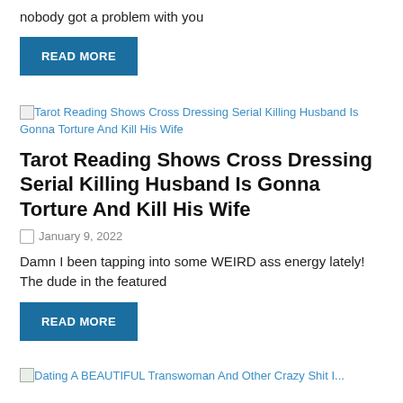nobody got a problem with you
READ MORE
[Figure (other): Broken image placeholder for article: Tarot Reading Shows Cross Dressing Serial Killing Husband Is Gonna Torture And Kill His Wife]
Tarot Reading Shows Cross Dressing Serial Killing Husband Is Gonna Torture And Kill His Wife
January 9, 2022
Damn I been tapping into some WEIRD ass energy lately! The dude in the featured
READ MORE
[Figure (other): Broken image placeholder for article: Dating A BEAUTIFUL Transwoman And Other Crazy Shit I...]